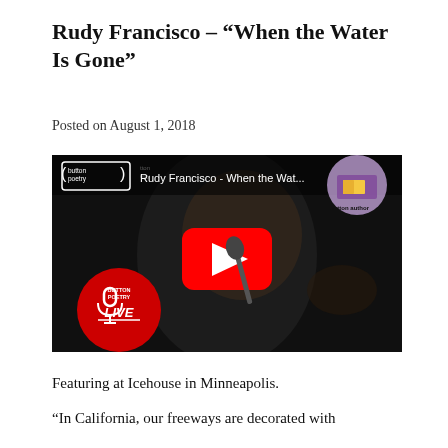Rudy Francisco – “When the Water Is Gone”
Posted on August 1, 2018
[Figure (screenshot): YouTube video thumbnail showing Rudy Francisco performing spoken word poetry at a microphone. The video is titled 'Rudy Francisco - When the Wat...' with Button Poetry branding including a 'Button Poetry Live' red badge in the lower left and a 'button author' logo in the upper right. A red YouTube play button is overlaid in the center.]
Featuring at Icehouse in Minneapolis.
“In California, our freeways are decorated with